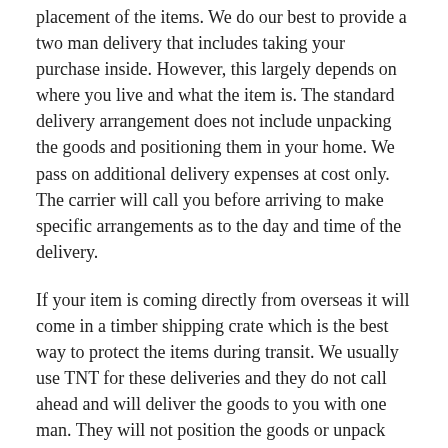placement of the items. We do our best to provide a two man delivery that includes taking your purchase inside. However, this largely depends on where you live and what the item is. The standard delivery arrangement does not include unpacking the goods and positioning them in your home. We pass on additional delivery expenses at cost only. The carrier will call you before arriving to make specific arrangements as to the day and time of the delivery.
If your item is coming directly from overseas it will come in a timber shipping crate which is the best way to protect the items during transit. We usually use TNT for these deliveries and they do not call ahead and will deliver the goods to you with one man. They will not position the goods or unpack them. Their standard operating model is to arrive unannounced and to leave a card if you are not home. You can then call them directly to arrange a more suitable time for re-delivery.
You may be required to assist the driver with unloading of your